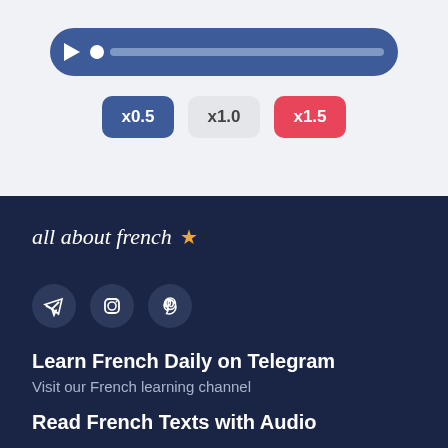[Figure (screenshot): Audio player bar with play button, progress dot, and progress bar in dark blue color]
[Figure (screenshot): Speed control buttons: x0.5 (dark blue), x1.0 (gray), x1.5 (red)]
[Figure (logo): All About French logo with star]
[Figure (screenshot): Three social media circular icon buttons: Telegram, Instagram, Pinterest]
Learn French Daily on Telegram
Visit our French learning channel
Read French Texts with Audio